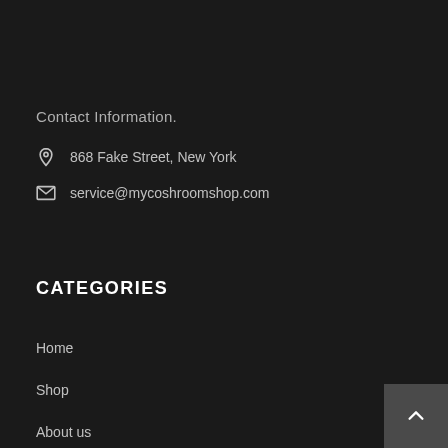Contact Information.
868 Fake Street, New York
service@mycoshroomshop.com
CATEGORIES
Home
Shop
About us
FAQ